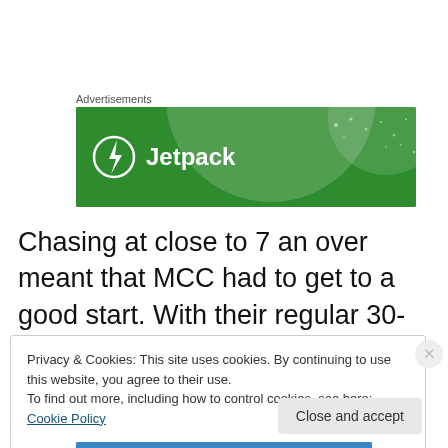Advertisements
[Figure (illustration): Jetpack advertisement banner — green background with large circular decoration, Jetpack logo (lightning bolt in circle) and 'Jetpack' text in white]
Chasing at close to 7 an over meant that MCC had to get to a good start. With their regular 30-overs opener, Venu out with a injury, the onus was on Guna to anchor the
Privacy & Cookies: This site uses cookies. By continuing to use this website, you agree to their use.
To find out more, including how to control cookies, see here: Cookie Policy
Close and accept